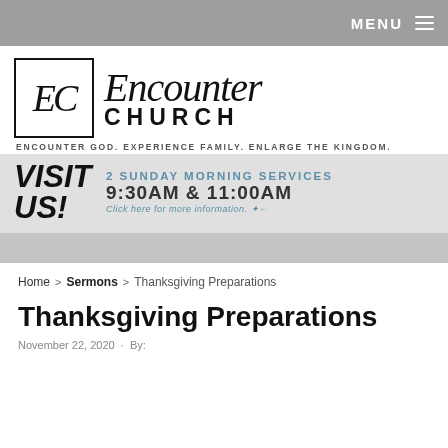MENU
[Figure (logo): Encounter Church logo with EC in a square box and stylized script text 'Encounter CHURCH' with tagline 'ENCOUNTER GOD. EXPERIENCE FAMILY. ENLARGE THE KINGDOM.']
[Figure (infographic): Visit Us banner with text '2 SUNDAY MORNING SERVICES 9:30AM & 11:00AM Click here for more information.']
Home > Sermons > Thanksgiving Preparations
Thanksgiving Preparations
November 22, 2020 · By: ...